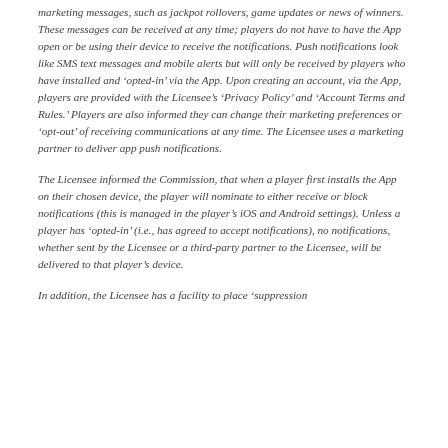marketing messages, such as jackpot rollovers, game updates or news of winners. These messages can be received at any time; players do not have to have the App open or be using their device to receive the notifications. Push notifications look like SMS text messages and mobile alerts but will only be received by players who have installed and 'opted-in' via the App. Upon creating an account, via the App, players are provided with the Licensee's 'Privacy Policy' and 'Account Terms and Rules.' Players are also informed they can change their marketing preferences or 'opt-out' of receiving communications at any time. The Licensee uses a marketing partner to deliver app push notifications.
The Licensee informed the Commission, that when a player first installs the App on their chosen device, the player will nominate to either receive or block notifications (this is managed in the player's iOS and Android settings). Unless a player has 'opted-in' (i.e., has agreed to accept notifications), no notifications, whether sent by the Licensee or a third-party partner to the Licensee, will be delivered to that player's device.
In addition, the Licensee has a facility to place 'suppression